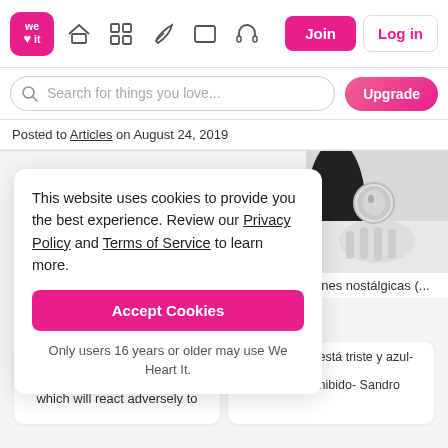[Figure (screenshot): We Heart It website navigation bar with logo, icons, Join and Log in buttons]
[Figure (screenshot): Search bar with 'Search for things you love...' placeholder and Upgrade button]
Posted to Articles on August 24, 2019
This website uses cookies to provide you the best experience. Review our Privacy Policy and Terms of Service to learn more.
Accept Cookies
Only users 16 years or older may use We Heart It.
[Figure (photo): Black and white photo of a person with long dark hair holding a small circular mirror]
ones nostálgicas (...
Everyday life should not be captivated with supplements which will react adversely to
1. El gato que está triste y azul- Roberto Carlos
2. El jardin prohibido- Sandro